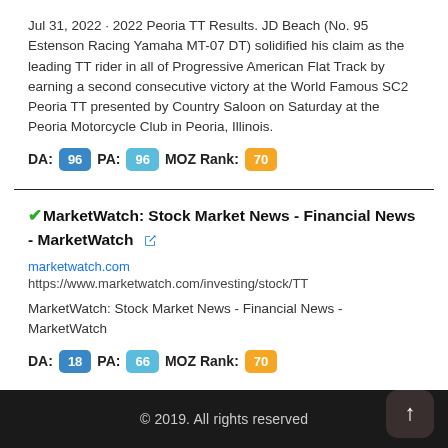Jul 31, 2022 · 2022 Peoria TT Results. JD Beach (No. 95 Estenson Racing Yamaha MT-07 DT) solidified his claim as the leading TT rider in all of Progressive American Flat Track by earning a second consecutive victory at the World Famous SC2 Peoria TT presented by Country Saloon on Saturday at the Peoria Motorcycle Club in Peoria, Illinois.
DA: 96  PA: 96  MOZ Rank: 70
✔MarketWatch: Stock Market News - Financial News - MarketWatch
marketwatch.com
https://www.marketwatch.com/investing/stock/TT
MarketWatch: Stock Market News - Financial News - MarketWatch
DA: 18  PA: 66  MOZ Rank: 70
© 2019. All rights reserved